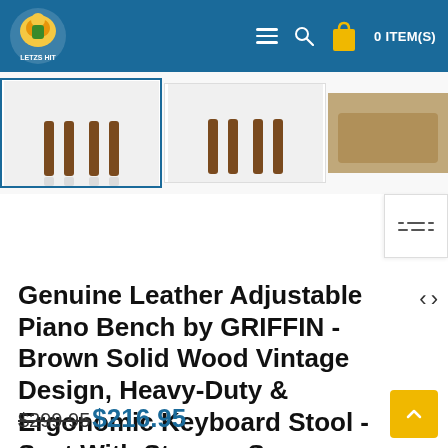0 ITEM(S)
[Figure (photo): Product thumbnail images of a piano bench, three thumbnails shown in a strip below the navigation bar]
Genuine Leather Adjustable Piano Bench by GRIFFIN - Brown Solid Wood Vintage Design, Heavy-Duty & Ergonomic Keyboard Stool - Seat With Storage Space
$299.95$216.95